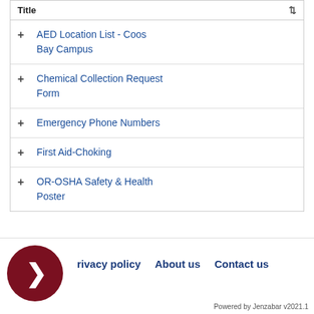| Title | ↕ |
| --- | --- |
| AED Location List - Coos Bay Campus |  |
| Chemical Collection Request Form |  |
| Emergency Phone Numbers |  |
| First Aid-Choking |  |
| OR-OSHA Safety & Health Poster |  |
Privacy policy  About us  Contact us
Powered by Jenzabar v2021.1